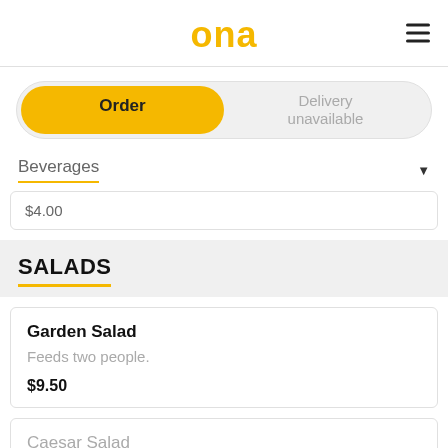ona
Order | Delivery unavailable
Beverages
$4.00
SALADS
Garden Salad
Feeds two people.
$9.50
Caesar Salad
Feeds two people.